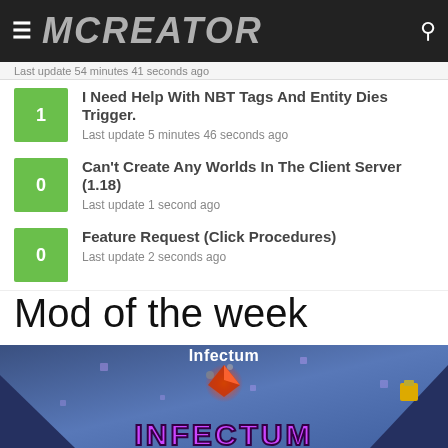MCREATOR
Last update 54 minutes 41 seconds ago
I Need Help With NBT Tags And Entity Dies Trigger.
Last update 5 minutes 46 seconds ago
Can't Create Any Worlds In The Client Server (1.18)
Last update 1 second ago
Feature Request (Click Procedures)
Last update 2 seconds ago
Mod of the week
[Figure (illustration): Infectum mod of the week promotional image showing a blue-themed Minecraft mod called Infectum with large purple stylized INFECTUM logo text at the bottom and a glowing orange fireball in the center]